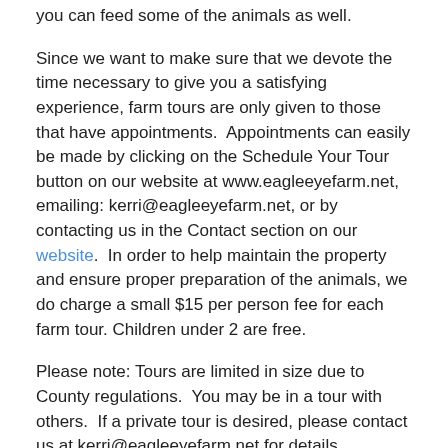you can feed some of the animals as well.
Since we want to make sure that we devote the time necessary to give you a satisfying experience, farm tours are only given to those that have appointments.  Appointments can easily be made by clicking on the Schedule Your Tour button on our website at www.eagleeyefarm.net, emailing: kerri@eagleeyefarm.net, or by contacting us in the Contact section on our website.  In order to help maintain the property and ensure proper preparation of the animals, we do charge a small $15 per person fee for each farm tour. Children under 2 are free.
Please note: Tours are limited in size due to County regulations.  You may be in a tour with others.  If a private tour is desired, please contact us at kerri@eagleeyefarm.net for details.